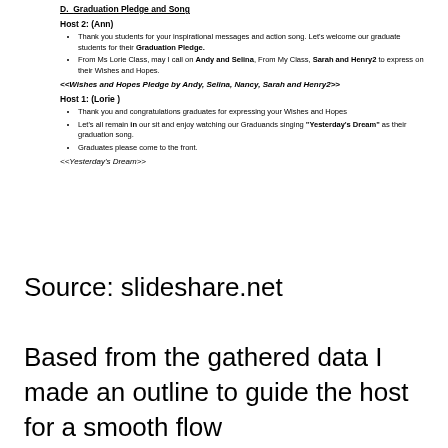D. Graduation Pledge and Song
Host 2: (Ann)
Thank you students for your inspirational messages and action song. Let's welcome our graduate students for their Graduation Pledge.
From Ms Lorie Class, may I call on Andy and Selina, From My Class, Sarah and Henry2 to express on their Wishes and Hopes.
<<Wishes and Hopes Pledge by Andy, Selina, Nancy, Sarah and Henry2>>
Host 1: (Lorie)
Thank you and congratulations graduates for expressing your Wishes and Hopes
Let's all remain in our sit and enjoy watching our Graduands singing "Yesterday's Dream" as their graduation song.
Graduates please come to the front.
<<Yesterday's Dream>>
Source: slideshare.net
Based from the gathered data I made an outline to guide the host for a smooth flow